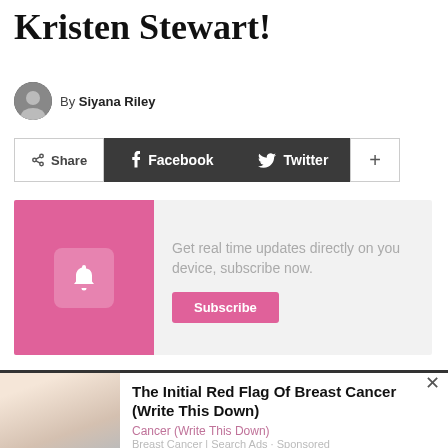Kristen Stewart!
By Siyana Riley
Share  Facebook  Twitter  +
[Figure (infographic): Subscribe notification banner with pink background, bell icon on left, text 'Get real time updates directly on you device, subscribe now.' and a pink Subscribe button on the right.]
[Figure (infographic): Bottom advertisement: image of person on left, headline 'The Initial Red Flag Of Breast Cancer (Write This Down)', subtitle in pink, source label, and close X button.]